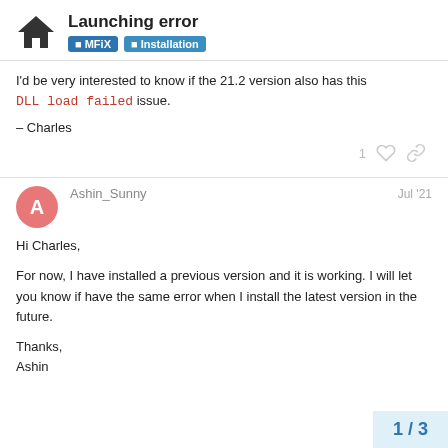Launching error — MFiX | Installation
I'd be very interested to know if the 21.2 version also has this DLL load failed issue.

– Charles
Ashin_Sunny  Jul '21
Hi Charles,

For now, I have installed a previous version and it is working. I will let you know if have the same error when I install the latest version in the future.

Thanks,
Ashin
1 / 3